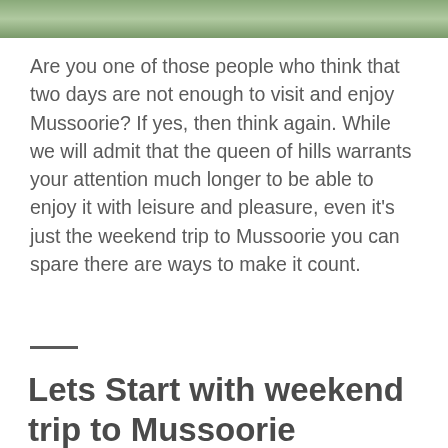[Figure (photo): Partial view of a nature/landscape photo strip at the top of the page, showing green foliage or water.]
Are you one of those people who think that two days are not enough to visit and enjoy Mussoorie? If yes, then think again. While we will admit that the queen of hills warrants your attention much longer to be able to enjoy it with leisure and pleasure, even it's just the weekend trip to Mussoorie you can spare there are ways to make it count.
Lets Start with weekend trip to Mussoorie